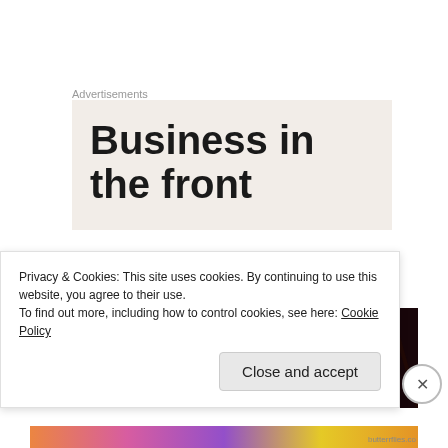Advertisements
[Figure (illustration): Advertisement box with large bold text reading 'Business in the front' on a light beige/cream background]
I received an advanced copy of this novel in exchange for a fair and honest review.
[Figure (photo): Dark brown wood-grain texture, likely a book cover]
Privacy & Cookies: This site uses cookies. By continuing to use this website, you agree to their use.
To find out more, including how to control cookies, see here: Cookie Policy
Close and accept